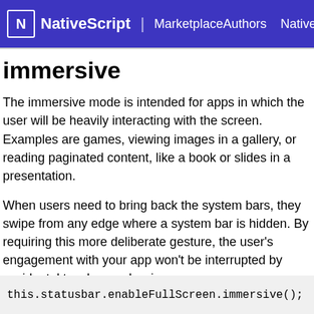N NativeScript | MarketplaceAuthors NativeSc
immersive
The immersive mode is intended for apps in which the user will be heavily interacting with the screen. Examples are games, viewing images in a gallery, or reading paginated content, like a book or slides in a presentation.
When users need to bring back the system bars, they swipe from any edge where a system bar is hidden. By requiring this more deliberate gesture, the user's engagement with your app won't be interrupted by accidental touches and swipes.
To enable immersive mode, call
this.statusbar.enableFullScreen.immersive();